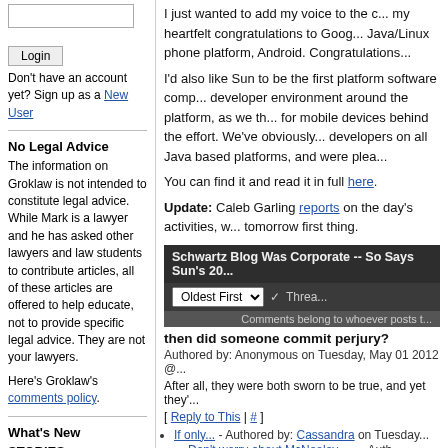Login button and input
Don't have an account yet? Sign up as a New User
No Legal Advice
The information on Groklaw is not intended to constitute legal advice. While Mark is a lawyer and he has asked other lawyers and law students to contribute articles, all of these articles are offered to help educate, not to provide specific legal advice. They are not your lawyers.
Here's Groklaw's comments policy.
What's New
STORIES
No new stories
I just wanted to add my voice to the chorus offering my heartfelt congratulations to Google on their Java/Linux phone platform, Android. Congratulations...
I'd also like Sun to be the first platform software company to build a developer environment around the platform, as we think Java is the best choice for mobile devices behind the effort. We've obviously had many millions of developers on all Java based platforms, and were plea...
You can find it and read it in full here.
Update: Caleb Garling reports on the day's activities, will put up more tomorrow first thing.
Schwartz Blog Was Corporate -- So Says Sun's 20...
Oldest First | Thread...
Comments belong to whoever posts t...
then did someone commit perjury?
Authored by: Anonymous on Tuesday, May 01 2012 @...
After all, they were both sworn to be true, and yet they'...
[ Reply to This | # ]
If only... - Authored by: Cassandra on Tuesday...
Don't worry about McNealey...... - Auth...
Don't worry about McNealey.... PM EDT